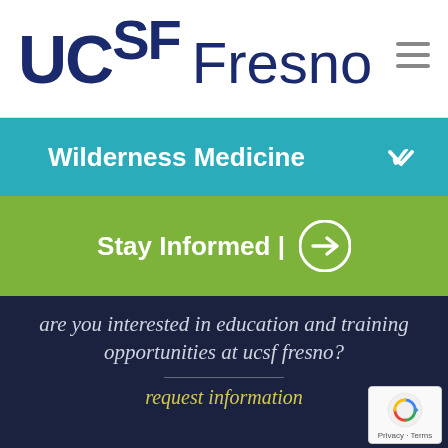[Figure (logo): UCSF Fresno logo with hamburger menu icon in top header bar]
Wilderness Medicine
Stay Informed |
are you interested in education and training opportunities at ucsf fresno?
request information